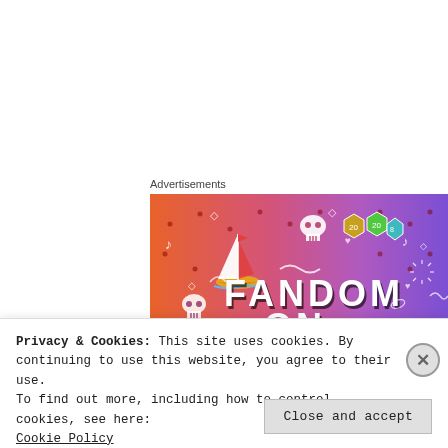Advertisements
[Figure (illustration): Colorful advertisement banner for Fandom on Tumblr. Orange-to-purple gradient background with doodle icons (skull, sailboat, dice, music notes, arrows, hearts). Large bold white/black text reads FANDOM ON tumblr.]
Privacy & Cookies: This site uses cookies. By continuing to use this website, you agree to their use.
To find out more, including how to control cookies, see here:
Cookie Policy
Close and accept